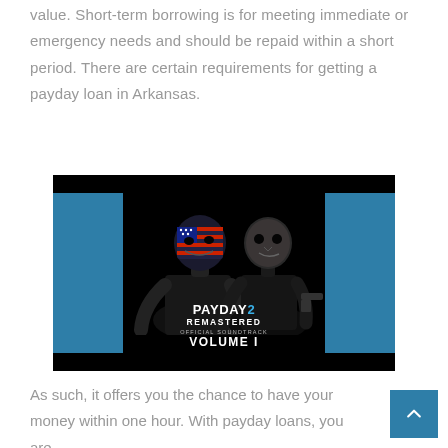value. Short-term borrowing is for meeting immediate or emergency needs and should be repaid within a short period. There are certain requirements for getting a payday loan in Arkansas.
[Figure (photo): Album cover for PAYDAY 2 Remastered Official Soundtrack Volume I, showing two masked figures in suits on a black background with teal/blue side panels.]
As such, it offers you the chance to have your money within one hour. With payday loans, you are